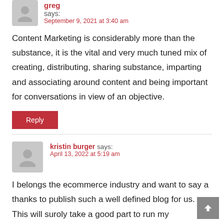greg says: September 9, 2021 at 3:40 am
Content Marketing is considerably more than the substance, it is the vital and very much tuned mix of creating, distributing, sharing substance, imparting and associating around content and being important for conversations in view of an objective.
Reply
kristin burger says: April 13, 2022 at 5:19 am
I belongs the ecommerce industry and want to say a thanks to publish such a well defined blog for us. This will suroly take a good part to run my